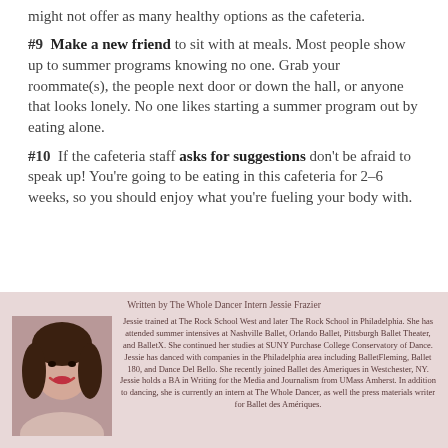might not offer as many healthy options as the cafeteria.
#9 Make a new friend to sit with at meals. Most people show up to summer programs knowing no one. Grab your roommate(s), the people next door or down the hall, or anyone that looks lonely. No one likes starting a summer program out by eating alone.
#10 If the cafeteria staff asks for suggestions don't be afraid to speak up! You're going to be eating in this cafeteria for 2–6 weeks, so you should enjoy what you're fueling your body with.
[Figure (photo): Headshot photo of Jessie Frazier, a young woman with dark hair, smiling.]
Written by The Whole Dancer Intern Jessie Frazier

Jessie trained at The Rock School West and later The Rock School in Philadelphia. She has attended summer intensives at Nashville Ballet, Orlando Ballet, Pittsburgh Ballet Theater, and BalletX. She continued her studies at SUNY Purchase College Conservatory of Dance. Jessie has danced with companies in the Philadelphia area including BalletFleming, Ballet 180, and Dance Del Bello. She recently joined Ballet des Ameriques in Westchester, NY. Jessie holds a BA in Writing for the Media and Journalism from UMass Amherst. In addition to dancing, she is currently an intern at The Whole Dancer, as well the press materials writer for Ballet des Amériques.